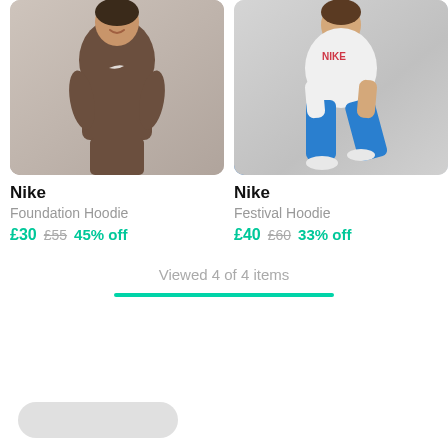[Figure (photo): Person wearing brown Nike Foundation Hoodie and brown sweatpants, smiling]
[Figure (photo): Person wearing white Nike Festival Hoodie with blue leggings and white sneakers, seated]
Nike
Foundation Hoodie
£30  £55  45% off
Nike
Festival Hoodie
£40  £60  33% off
Viewed 4 of 4 items